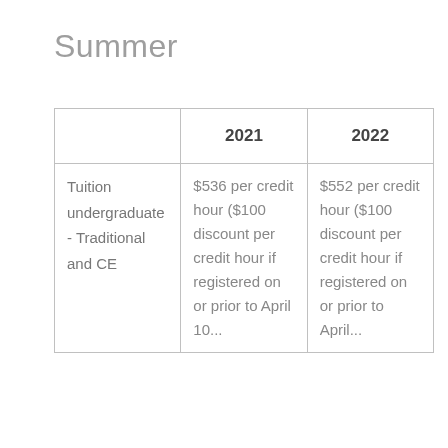Summer
|  | 2021 | 2022 |
| --- | --- | --- |
| Tuition undergraduate - Traditional and CE | $536 per credit hour ($100 discount per credit hour if registered on or prior to April 10... | $552 per credit hour ($100 discount per credit hour if registered on or prior to April... |